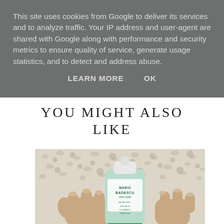This site uses cookies from Google to deliver its services and to analyze traffic. Your IP address and user-agent are shared with Google along with performance and security metrics to ensure quality of service, generate usage statistics, and to detect and address abuse.
LEARN MORE   OK
YOU MIGHT ALSO LIKE
[Figure (photo): A hand holding a Mario Badescu Facial Spray bottle with aloe, cucumber, and green tea. The background shows a knit/lace fabric texture.]